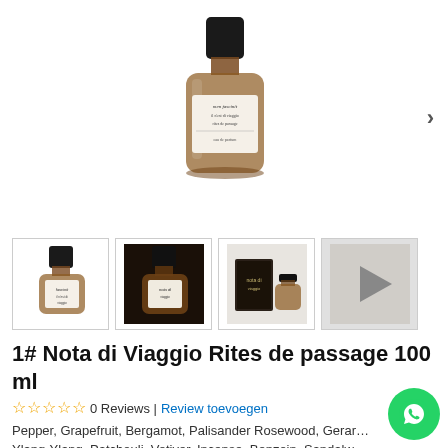[Figure (photo): Main product image: amber glass perfume bottle with black cap and white label reading 'men fascinit / il n'est di viaggio / rites de passage / eau de parfum']
[Figure (photo): Thumbnail 1: same amber perfume bottle front view]
[Figure (photo): Thumbnail 2: same amber perfume bottle, darker background]
[Figure (photo): Thumbnail 3: perfume bottle with box/packaging]
[Figure (photo): Thumbnail 4: video play button thumbnail]
1# Nota di Viaggio Rites de passage 100 ml
0 Reviews | Review toevoegen
Pepper, Grapefruit, Bergamot, Palisander Rosewood, Geranium, Ylang-Ylang, Patchouli, Vetiver, Incense, Benzoin, Sandalwood